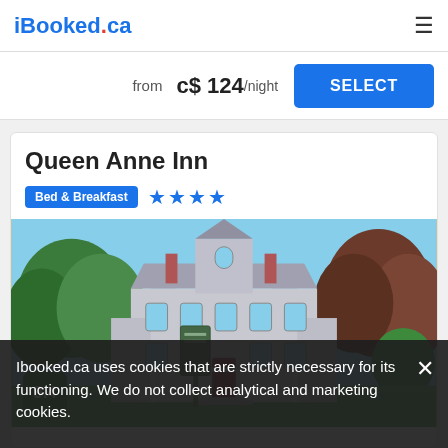iBooked.ca
from c$ 124/night
SELECT
Queen Anne Inn
Bed & Breakfast ★★★★
[Figure (photo): Exterior photo of the Queen Anne Inn, a large Victorian-style grey mansion with towers and verandas surrounded by lush green trees and manicured lawn. A green sign is visible in the foreground.]
9.4
Ibooked.ca uses cookies that are strictly necessary for its functioning. We do not collect analytical and marketing cookies.